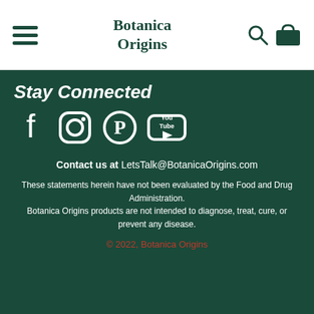Botanica Origins
Stay Connected
[Figure (infographic): Social media icons: Facebook, Instagram, Pinterest, YouTube]
Contact us at LetsTalk@BotanicaOrigins.com
These statements herein have not been evaluated by the Food and Drug Administration. Botanica Origins products are not intended to diagnose, treat, cure, or prevent any disease.
© 2022, Botanica Origins